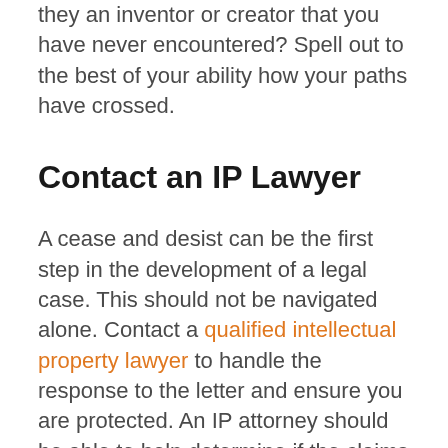they an inventor or creator that you have never encountered? Spell out to the best of your ability how your paths have crossed.
Contact an IP Lawyer
A cease and desist can be the first step in the development of a legal case. This should not be navigated alone. Contact a qualified intellectual property lawyer to handle the response to the letter and ensure you are protected. An IP attorney should be able to help determine if the claims in the letter are founded as well as advise your next steps.